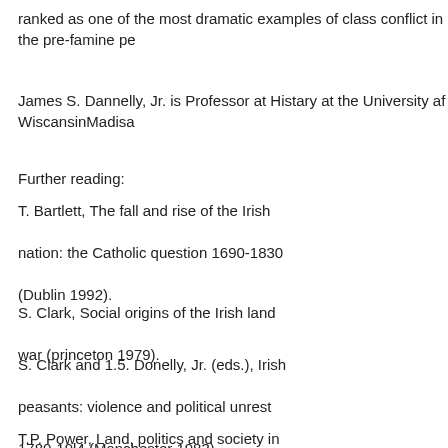ranked as one of the most dramatic examples of class conflict in the pre-famine pe
James S. Dannelly, Jr. is Professor at Histary at the University af WiscansinMadisa
Further reading:
T. Bartlett, The fall and rise of the Irish nation: the Catholic question 1690-1830 (Dublin 1992).
S. Clark, Social origins of the Irish land war (princeton 1979).
S. Clark and 1.5. Donelly, Jr. (eds.), Irish peasants: violence and political unrest 1780-19l4 (Manchester 1983).
T.P. Power, Land, politics and society in